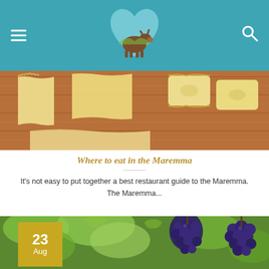Navigation header with hamburger menu, logo, and search icon
[Figure (photo): Fresh pasta sheets and ravioli on a wooden board]
Where to eat in the Maremma
It's not easy to put together a best restaurant guide to the Maremma. The Maremma...
[Figure (photo): Bunches of dark grapes on a vine with green leaves, date badge showing 23 Aug]